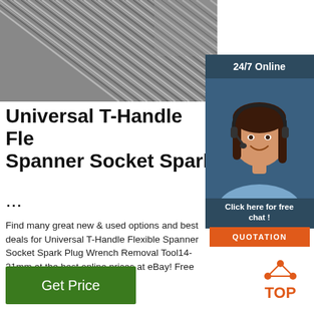[Figure (photo): Close-up photo of metal rods or wires arranged diagonally, appearing silver/grey, like spark plug wrench components or metal bristles]
[Figure (photo): 24/7 Online customer service representative - woman with headset smiling, dark hair, blue shirt, on dark blue background with '24/7 Online' text and 'Click here for free chat!' and orange QUOTATION button]
Universal T-Handle Fle Spanner Socket Spark
...
Find many great new & used options and best deals for Universal T-Handle Flexible Spanner Socket Spark Plug Wrench Removal Tool14-21mm at the best online prices at eBay! Free shipping for many products!
[Figure (logo): TOP logo with orange dots arranged in triangle above the word TOP in orange]
Get Price